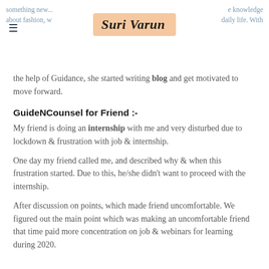something new... e knowledge about fashion, w daily life. With
the help of Guidance, she started writing blog and get motivated to move forward.
GuideNCounsel for Friend :-
My friend is doing an internship with me and very disturbed due to lockdown & frustration with job & internship.
One day my friend called me, and described why & when this frustration started. Due to this, he/she didn't want to proceed with the internship.
After discussion on points, which made friend uncomfortable. We figured out the main point which was making an uncomfortable friend that time paid more concentration on job & webinars for learning during 2020.